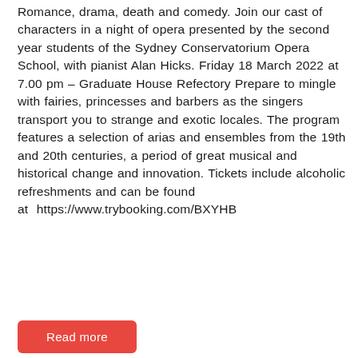Romance, drama, death and comedy. Join our cast of characters in a night of opera presented by the second year students of the Sydney Conservatorium Opera School, with pianist Alan Hicks. Friday 18 March 2022 at 7.00 pm – Graduate House Refectory Prepare to mingle with fairies, princesses and barbers as the singers transport you to strange and exotic locales. The program features a selection of arias and ensembles from the 19th and 20th centuries, a period of great musical and historical change and innovation. Tickets include alcoholic refreshments and can be found at  https://www.trybooking.com/BXYHB
Read more